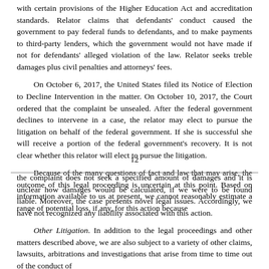with certain provisions of the Higher Education Act and accreditation standards. Relator claims that defendants' conduct caused the government to pay federal funds to defendants, and to make payments to third-party lenders, which the government would not have made if not for defendants' alleged violation of the law. Relator seeks treble damages plus civil penalties and attorneys' fees.
On October 6, 2017, the United States filed its Notice of Election to Decline Intervention in the matter. On October 10, 2017, the Court ordered that the complaint be unsealed. After the federal government declines to intervene in a case, the relator may elect to pursue the litigation on behalf of the federal government. If she is successful she will receive a portion of the federal government's recovery. It is not clear whether this relator will elect to pursue the litigation.
Because of the many questions of fact and law that may arise, the outcome of this legal proceeding is uncertain at this point. Based on information available to us at present, we cannot reasonably estimate a range of potential loss, if any, for this action because
12
the complaint does not seek a specified amount of damages and it is unclear how damages would be calculated, if we were to be found liable. Moreover, the case presents novel legal issues. Accordingly, we have not recognized any liability associated with this action.
Other Litigation. In addition to the legal proceedings and other matters described above, we are also subject to a variety of other claims, lawsuits, arbitrations and investigations that arise from time to time out of the conduct of